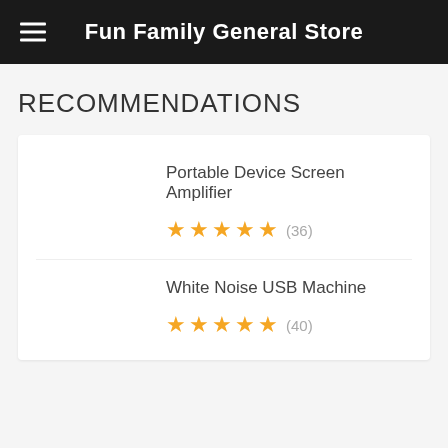Fun Family General Store
RECOMMENDATIONS
Portable Device Screen Amplifier
★★★★★ (36)
White Noise USB Machine
★★★★★ (40)